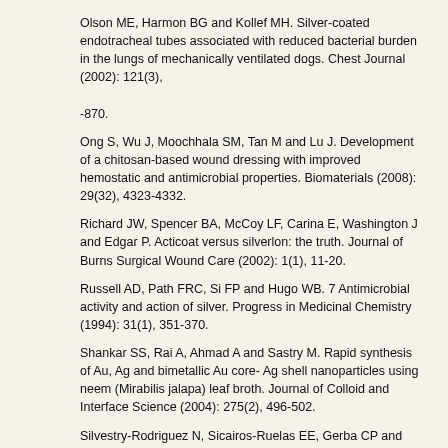Olson ME, Harmon BG and Kollef MH. Silver-coated endotracheal tubes associated with reduced bacterial burden in the lungs of mechanically ventilated dogs. Chest Journal (2002): 121(3),

-870.
Ong S, Wu J, Moochhala SM, Tan M and Lu J. Development of a chitosan-based wound dressing with improved hemostatic and antimicrobial properties. Biomaterials (2008): 29(32), 4323-4332.
Richard JW, Spencer BA, McCoy LF, Carina E, Washington J and Edgar P. Acticoat versus silverlon: the truth. Journal of Burns Surgical Wound Care (2002): 1(1), 11-20.
Russell AD, Path FRC, Si FP and Hugo WB. 7 Antimicrobial activity and action of silver. Progress in Medicinal Chemistry (1994): 31(1), 351-370.
Shankar SS, Rai A, Ahmad A and Sastry M. Rapid synthesis of Au, Ag and bimetallic Au core- Ag shell nanoparticles using neem (Mirabilis jalapa) leaf broth. Journal of Colloid and Interface Science (2004): 275(2), 496-502.
Silvestry-Rodriguez N, Sicairos-Ruelas EE, Gerba CP and Bright KR. Copper as a disinfectant. Reviews of Environmental Contamination and Toxicology (2007): 191(1), 23-45.
Strack. D., Vogt, T, Schliemann, W. Recent advances in betalain research. Phytochemistry, (2003): 62(3), 247-269.
Sun Y and Xia Y. Shape controlled synthesis of gold and silver nanoparticles. Science (2002): 298(5601), 2176-